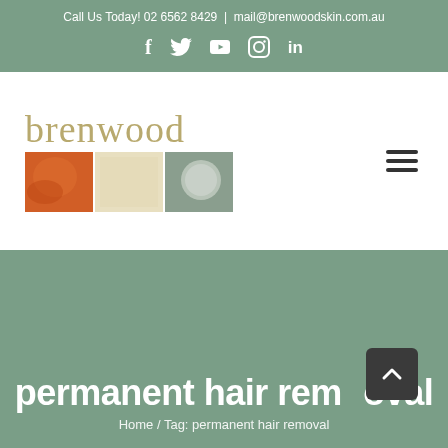Call Us Today! 02 6562 8429 | mail@brenwoodskin.com.au
[Figure (logo): Social media icons: Facebook (f), Twitter bird, YouTube play button, Instagram camera, LinkedIn (in)]
[Figure (logo): Brenwood skin clinic logo with brand name in gold serif font and three colored squares below (orange, cream, sage green with stone)]
permanent hair removal
Home / Tag: permanent hair removal